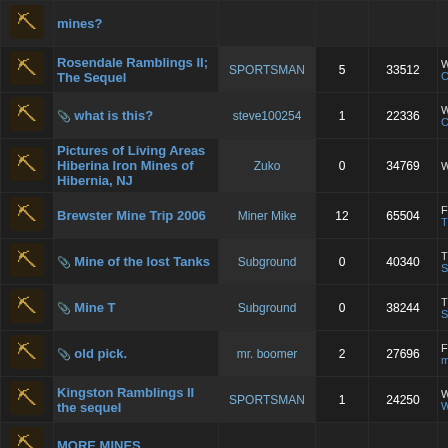|  | Title | Author | Replies | Views | Last Post |
| --- | --- | --- | --- | --- | --- |
| [icon] | mines? |  |  |  |  |
| [icon] | Rosendale Ramblings II; The Sequel | SPORTSMAN | 5 | 33512 | Wed Nov Co |
| [icon] | 📎 what is this? | steve100254 | 1 | 22336 | Wed Nov Co |
| [icon] | Pictures of Living Areas Hiberina Iron Mines of Hibernia, NJ | Zuko | 0 | 34769 | Wed Nov |
| [icon] | Brewster Mine Trip 2006 | Miner Mike | 12 | 65504 | Fri Mar Tri |
| [icon] | 📎 Mine of the lost Tanks | Subground | 0 | 40340 | Thu Mar Su |
| [icon] | 📎 Mine T | Subground | 0 | 38244 | Thu Mar Su |
| [icon] | 📎 old pick. | mr. boomer | 2 | 27696 | Fri Aug mr |
| [icon] | Kingston Ramblings II the sequel | SPORTSMAN | 1 | 24250 | Wed Mar We |
| [icon] | MORE MINES |  |  |  |  |